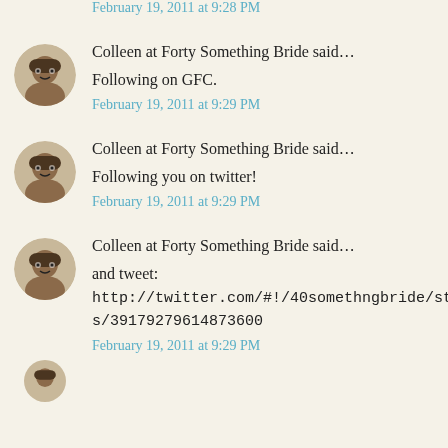February 19, 2011 at 9:28 PM
Colleen at Forty Something Bride said…
Following on GFC.
February 19, 2011 at 9:29 PM
Colleen at Forty Something Bride said…
Following you on twitter!
February 19, 2011 at 9:29 PM
Colleen at Forty Something Bride said…
and tweet: http://twitter.com/#!/40somethngbride/status/39179279614873600
February 19, 2011 at 9:29 PM